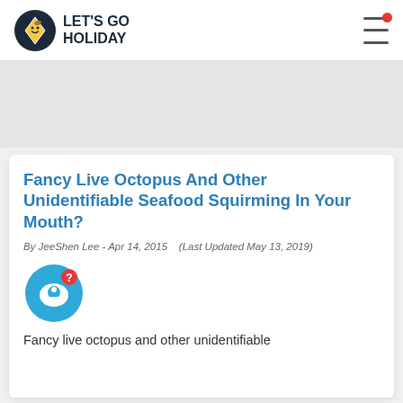LET'S GO HOLIDAY
Fancy Live Octopus And Other Unidentifiable Seafood Squirming In Your Mouth?
By JeeShen Lee - Apr 14, 2015   (Last Updated May 13, 2019)
[Figure (illustration): Chat/comment bubble icon with a question mark badge, blue circular background]
Fancy live octopus and other unidentifiable